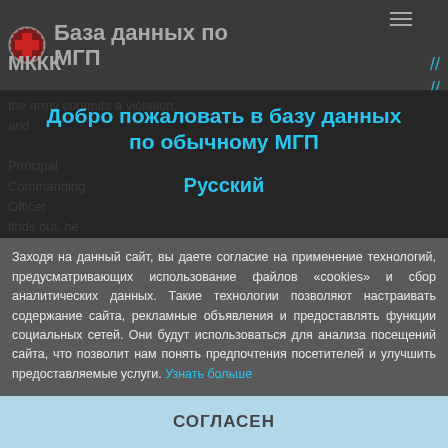База данных по МГП — МККК
the army commits a violation, and … Commanding Officer finds out, he shall
Добро пожаловать в базу данных по обычному МГП
Русский
Заходя на данный сайт, вы даете согласие на применение технологий, предусматривающих использование файлов «cookies» и сбор аналитических данных. Такие технологии позволяют настраивать содержание сайта, рекламные объявления и предоставлять функции социальных сетей. Они будут использоваться для анализа посещений сайта, что позволит нам понять предпочтения посетителей и улучшить предоставляемые услуги. Узнать больше
СОГЛАСЕН